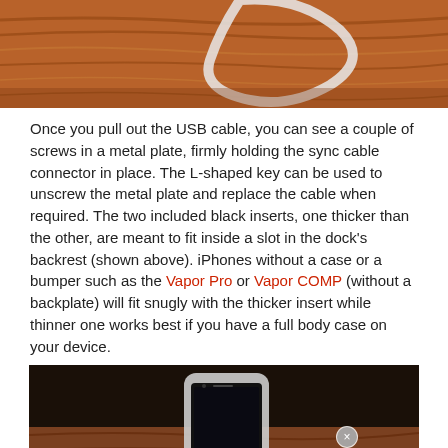[Figure (photo): Top portion of a photo showing a wooden surface with a white cable or ring visible against a wood-grain background]
Once you pull out the USB cable, you can see a couple of screws in a metal plate, firmly holding the sync cable connector in place. The L-shaped key can be used to unscrew the metal plate and replace the cable when required. The two included black inserts, one thicker than the other, are meant to fit inside a slot in the dock's backrest (shown above). iPhones without a case or a bumper such as the Vapor Pro or Vapor COMP (without a backplate) will fit snugly with the thicker insert while thinner one works best if you have a full body case on your device.
[Figure (photo): Photo of an iPhone in a white/clear bumper case sitting in a white dock on a wooden surface, with a small close (x) button overlay in the upper right area]